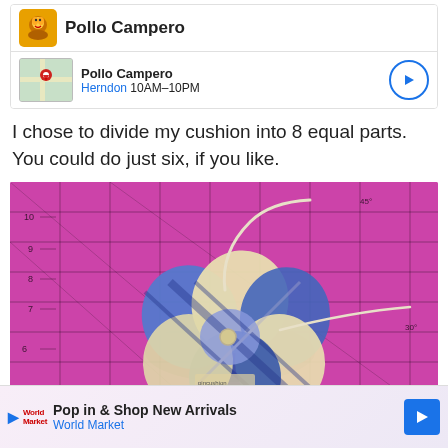[Figure (screenshot): Top ad card showing Pollo Campero logo and restaurant info with map thumbnail]
I chose to divide my cushion into 8 equal parts.  You could do just six, if you like.
[Figure (photo): Photo of a handmade pincushion divided into 8 equal sections with blue plaid and cream fabric, sitting on a pink cutting mat with grid lines and angle markings.]
[Figure (screenshot): Bottom advertisement for World Market: Pop in & Shop New Arrivals]